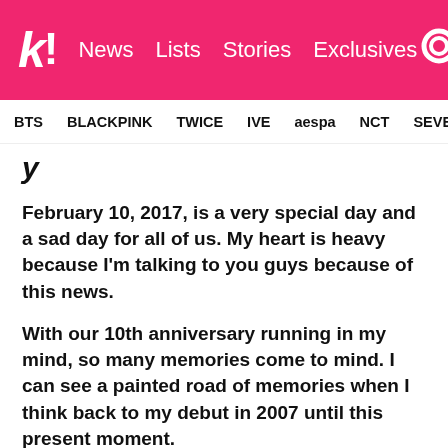k! News Lists Stories Exclusives [search]
BTS  BLACKPINK  TWICE  IVE  aespa  NCT  SEVE
February 10, 2017, is a very special day and a sad day for all of us. My heart is heavy because I'm talking to you guys because of this news.
With our 10th anniversary running in my mind, so many memories come to mind. I can see a painted road of memories when I think back to my debut in 2007 until this present moment.
I will never be able to forget the